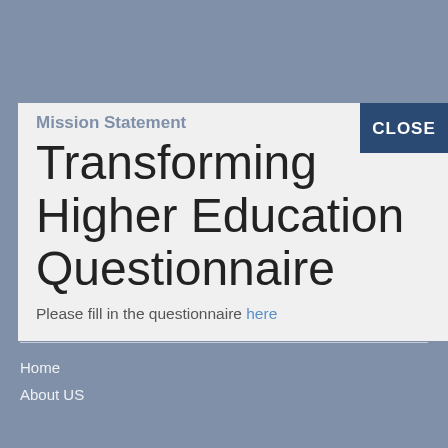Mission Statement
Transforming Higher Education Questionnaire
Please fill in the questionnaire here
To provide an environment that promotes quality assurance in higher education, enhances recognition of qualifications; mobility of learners and supports national development.
Quick Links
Home
About US